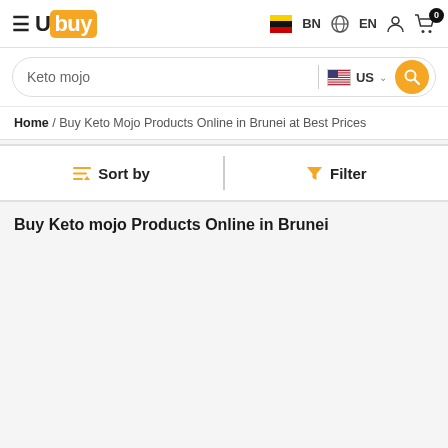Ubuy | BN | EN
Keto mojo | US
Home / Buy Keto Mojo Products Online in Brunei at Best Prices
Sort by   Filter
Buy Keto mojo Products Online in Brunei